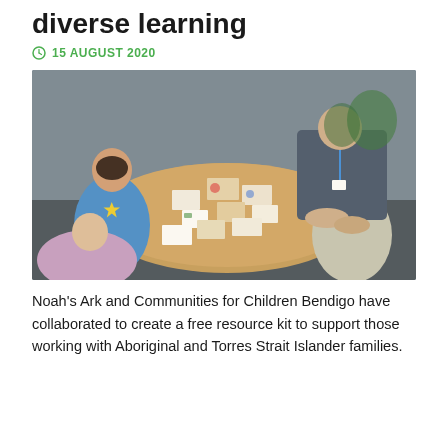diverse learning
15 AUGUST 2020
[Figure (photo): Children and an adult sitting around a round table with educational cards and materials spread on it, in a classroom setting.]
Noah's Ark and Communities for Children Bendigo have collaborated to create a free resource kit to support those working with Aboriginal and Torres Strait Islander families.